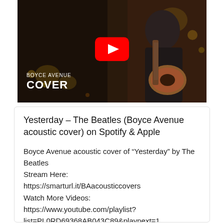[Figure (screenshot): YouTube video thumbnail showing a man playing acoustic guitar in a dark setting. Text 'Yesterday' in cursive at top. YouTube play button in center. Bottom-left shows 'BOYCE AVENUE COVER' text. Blue circle icon top-left.]
Yesterday – The Beatles (Boyce Avenue acoustic cover) on Spotify & Apple
Boyce Avenue acoustic cover of “Yesterday” by The Beatles
Stream Here:
https://smarturl.it/BAacousticcovers
Watch More Videos:
https://www.youtube.com/playlist?
list=PL0RD69368AB043C89&playnext=1